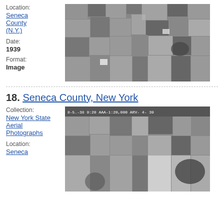Location:
Seneca County (N.Y.)
Date:
1939
Format:
Image
[Figure (photo): Aerial photograph of Seneca County New York farmland, black and white, showing agricultural fields in grid pattern]
18. Seneca County, New York
Collection:
New York State Aerial Photographs
Location:
Seneca
[Figure (photo): Aerial photograph of Seneca County New York, black and white, with text overlay: 8-5.-38  9:20  AAA-1:20,000  ARV-4-39, showing agricultural fields]